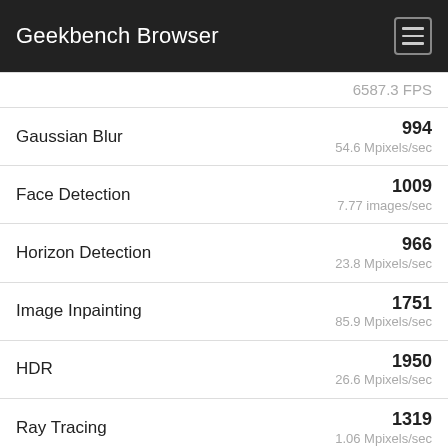Geekbench Browser
| Benchmark | Score | Rate |
| --- | --- | --- |
|  |  | 6587.3 FPS |
| Gaussian Blur | 994 | 54.6 Mpixels/sec |
| Face Detection | 1009 | 7.77 images/sec |
| Horizon Detection | 966 | 23.8 Mpixels/sec |
| Image Inpainting | 1751 | 85.9 Mpixels/sec |
| HDR | 1950 | 26.6 Mpixels/sec |
| Ray Tracing | 1319 | 1.06 Mpixels/sec |
| Structure from Motion | 899 | 8.05 Kpixels/sec |